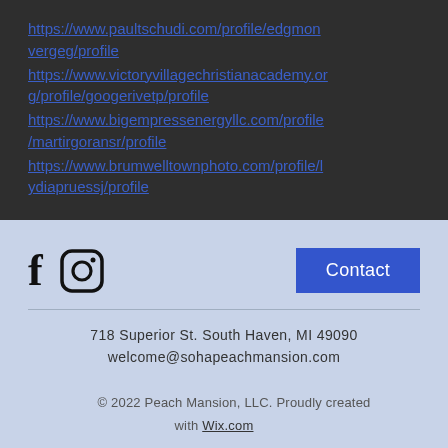https://www.paultschudi.com/profile/edgmonvergeg/profile
https://www.victoryvillagechristianacademy.org/profile/googerivetp/profile
https://www.bigempressenergyllc.com/profile/martirgoransr/profile
https://www.brumwelltownphoto.com/profile/lydiapruessj/profile
[Figure (logo): Facebook and Instagram social media icons followed by a Contact button]
718 Superior St. South Haven, MI 49090
welcome@sohapeachmansion.com
© 2022 Peach Mansion, LLC. Proudly created with Wix.com